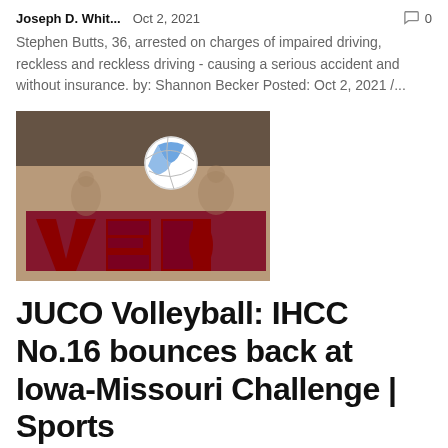Joseph D. Whit...   Oct 2, 2021   0
Stephen Butts, 36, arrested on charges of impaired driving, reckless and reckless driving - causing a serious accident and without insurance. by: Shannon Becker Posted: Oct 2, 2021 /...
[Figure (photo): Volleyball in the air during a game; background shows a gymnasium wall with letters 'VED' visible in maroon.]
JUCO Volleyball: IHCC No.16 bounces back at Iowa-Missouri Challenge | Sports
Joseph D. Whit...   Oct 2, 2021   0